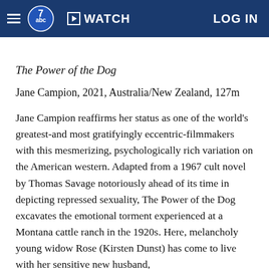abc7 | WATCH | LOG IN
The Power of the Dog
Jane Campion, 2021, Australia/New Zealand, 127m
Jane Campion reaffirms her status as one of the world's greatest-and most gratifyingly eccentric-filmmakers with this mesmerizing, psychologically rich variation on the American western. Adapted from a 1967 cult novel by Thomas Savage notoriously ahead of its time in depicting repressed sexuality, The Power of the Dog excavates the emotional torment experienced at a Montana cattle ranch in the 1920s. Here, melancholy young widow Rose (Kirsten Dunst) has come to live with her sensitive new husband,